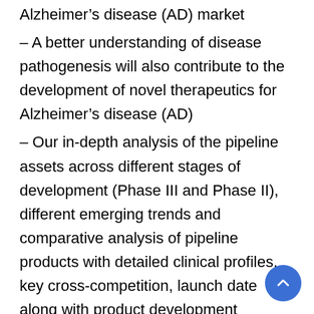Alzheimer's disease (AD) market
– A better understanding of disease pathogenesis will also contribute to the development of novel therapeutics for Alzheimer's disease (AD)
– Our in-depth analysis of the pipeline assets across different stages of development (Phase III and Phase II), different emerging trends and comparative analysis of pipeline products with detailed clinical profiles, key cross-competition, launch date along with product development activities will support the clients in the decision-making process regarding their therapeutic portfolio by identifying the overall scenario of the research and development activities